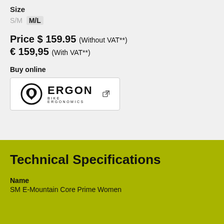Size
S/M  M/L
Price $ 159.95 (Without VAT**)
€ 159,95 (With VAT**)
Buy online
[Figure (logo): Ergon Bike Ergonomics logo with circular icon and external link icon]
Technical Specifications
Name
SM E-Mountain Core Prime Women